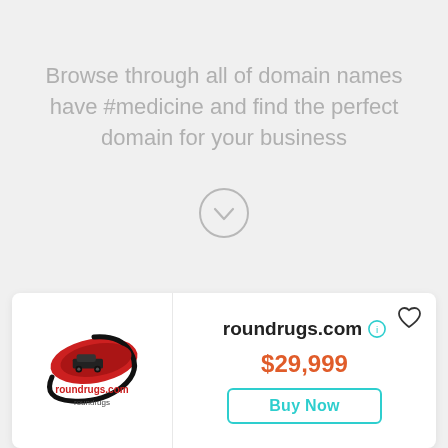Browse through all of domain names have #medicine and find the perfect domain for your business
[Figure (illustration): Chevron/down arrow inside a circle, gray colored, indicating scroll down]
[Figure (logo): roundrugs.com logo: red ellipse with car silhouette and black swirl, text 'roundrugs.com' and 'roundrugs' below]
roundrugs.com $29,999 Buy Now